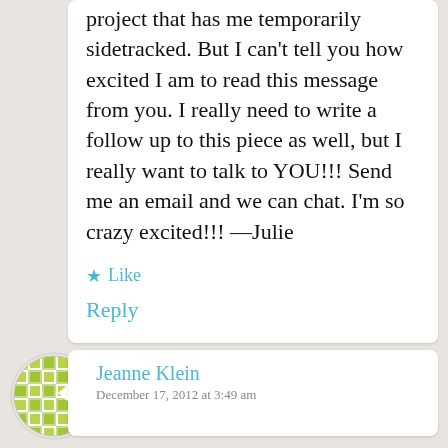project that has me temporarily sidetracked. But I can't tell you how excited I am to read this message from you. I really need to write a follow up to this piece as well, but I really want to talk to YOU!!! Send me an email and we can chat. I'm so crazy excited!!! —Julie
★ Like
Reply
[Figure (illustration): Green circular avatar icon with checkered/grid pattern]
Jeanne Klein
December 17, 2012 at 3:49 am